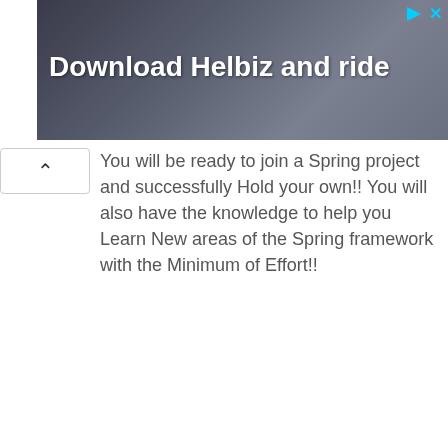[Figure (photo): Advertisement banner showing a person holding a camera/scooter-related device with text 'Download Helbiz and ride' in white bold font on a dark background. Ad icons (play and close) visible in top right corner.]
You will be ready to join a Spring project and successfully Hold your own!! You will also have the knowledge to help you Learn New areas of the Spring framework with the Minimum of Effort!!